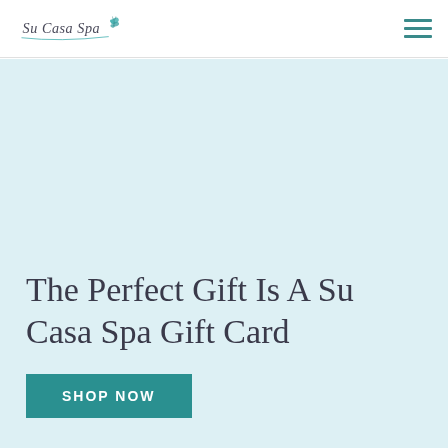Su Casa Spa
The Perfect Gift Is A Su Casa Spa Gift Card
SHOP NOW